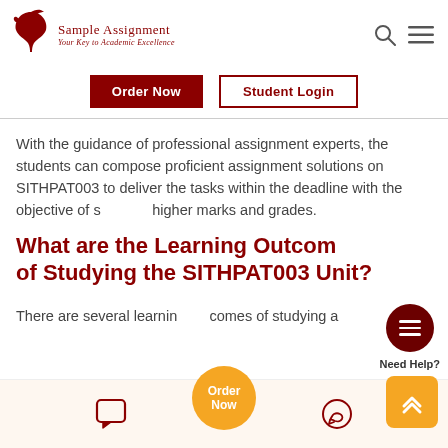[Figure (logo): Sample Assignment logo with bird icon and tagline 'Your Key to Academic Excellence']
[Figure (screenshot): Navigation buttons: Order Now (dark red) and Student Login (outlined)]
With the guidance of professional assignment experts, the students can compose proficient assignment solutions on SITHPAT003 to deliver the tasks within the deadline with the objective of securing higher marks and grades.
What are the Learning Outcomes of Studying the SITHPAT003 Unit?
There are several learning outcomes of studying a